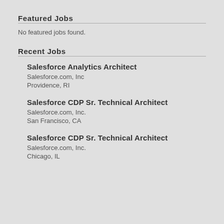Featured Jobs
No featured jobs found.
Recent Jobs
Salesforce Analytics Architect
Salesforce.com, Inc
Providence, RI
Salesforce CDP Sr. Technical Architect
Salesforce.com, Inc.
San Francisco, CA
Salesforce CDP Sr. Technical Architect
Salesforce.com, Inc.
Chicago, IL